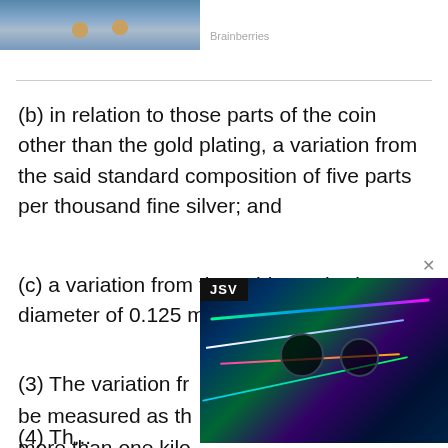[Figure (photo): Hands holding coins, photo from Brainberries]
Brainberries
(b) in relation to those parts of the coin other than the gold plating, a variation from the said standard composition of five parts per thousand fine silver; and
(c) a variation from the said standard diameter of 0.125 millimetres per coin.
(3) The variation fr... be measured as th... more than one kilo...
[Figure (screenshot): Advertisement overlay showing financial data chart with JSV label and colorful lines on dark background]
(4) Th...